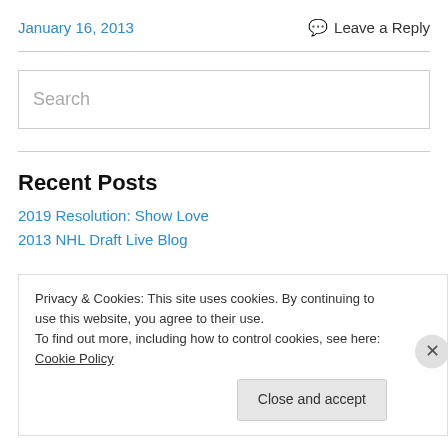January 16, 2013
Leave a Reply
[Figure (screenshot): Search input box with placeholder text 'Search']
Recent Posts
2019 Resolution: Show Love
2013 NHL Draft Live Blog
Privacy & Cookies: This site uses cookies. By continuing to use this website, you agree to their use.
To find out more, including how to control cookies, see here: Cookie Policy
Close and accept